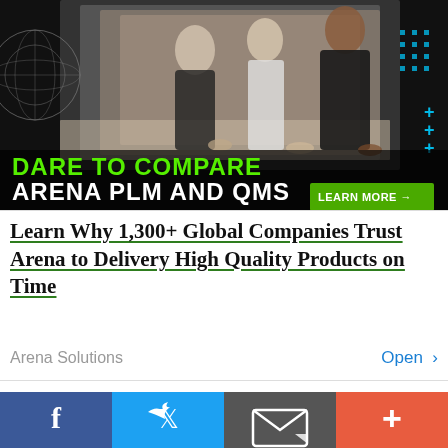[Figure (photo): Advertisement banner showing three professionals (two men and a woman) looking at documents on a table in a dark industrial setting. Text overlay reads 'DARE TO COMPARE ARENA PLM AND QMS' with a 'LEARN MORE' button.]
Learn Why 1,300+ Global Companies Trust Arena to Delivery High Quality Products on Time
Arena Solutions   Open >
Wow! I was impressed with 5.03 Mbps Download and 2.00Mbps Upload speeds the 270ms ping is acceptable since Bayantel was the
[Figure (infographic): Social sharing bar with four buttons: Facebook (blue), Twitter (light blue), Email (gray), and Add/Plus (red-orange)]